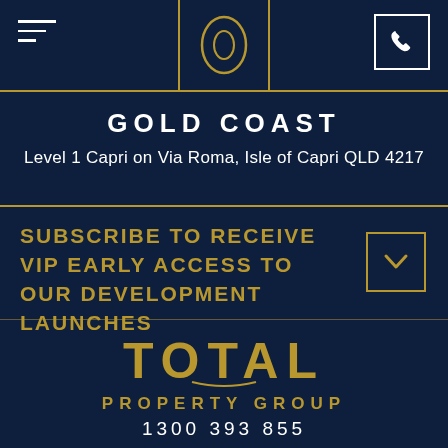[Figure (logo): Total Property Group header with hamburger menu icon on left, oval logo center top, and phone icon box on right]
GOLD COAST
Level 1 Capri on Via Roma, Isle of Capri QLD 4217
SUBSCRIBE TO RECEIVE VIP EARLY ACCESS TO OUR DEVELOPMENT LAUNCHES
[Figure (logo): TOTAL PROPERTY GROUP logo in gold text]
1300 393 855